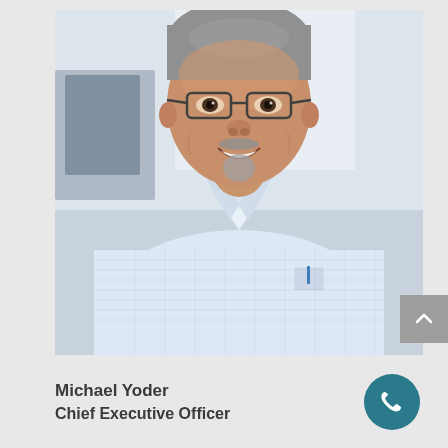[Figure (photo): Portrait photo of Michael Yoder, a middle-aged man with gray-streaked hair, glasses, goatee, smiling, wearing a light blue checked button-up shirt, photographed from chest up against a light blurred office background.]
Michael Yoder
Chief Executive Officer